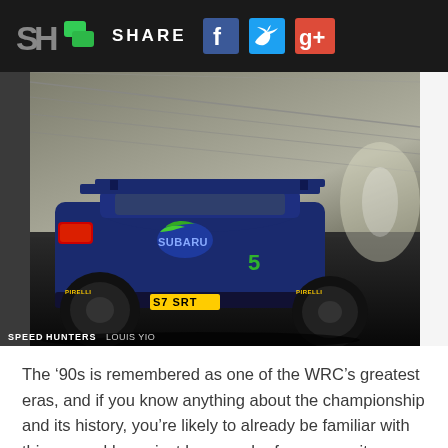SH SHARE
[Figure (photo): Rear three-quarter view of a blue Subaru Impreza WRC rally car with Pirelli tires and yellow license plate S7 SRT, parked inside a large industrial warehouse or hangar with metal roof trusses and concrete floor. Photo credit: SPEEDHUNTERS LOUIS YIO]
The ‘ 90s is remembered as one of the WRC’s greatest eras, and if you know anything about the championship and its history, you’re likely to already be familiar with this car and know just how much of a weapon it was.